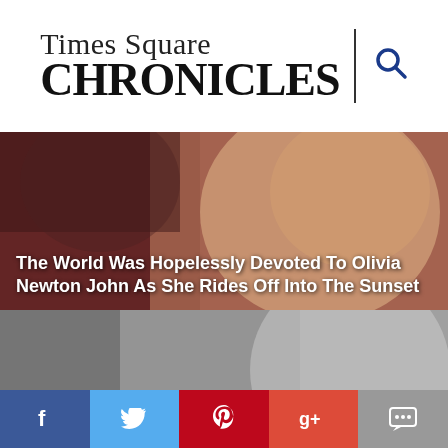[Figure (logo): Times Square Chronicles logo with search icon]
[Figure (photo): Photo of Olivia Newton John with curly red/blonde hair, warm tones]
The World Was Hopelessly Devoted To Olivia Newton John As She Rides Off Into The Sunset
[Figure (photo): Black and white photo of Samantha Rose Baldwin]
Meet Samantha Rose Baldwin From Stranger Things: The Experience
[Figure (photo): Dark background with Firecracker Entertainment logo text]
Firecracker Entertainment Sparks Opportunity for Independent Creatives
[Figure (infographic): Social media share bar with Facebook, Twitter, Pinterest, Google+, and comment icons]